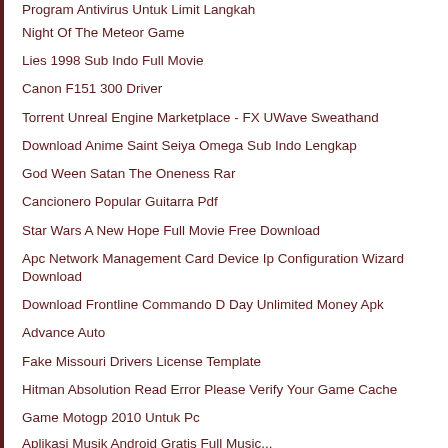Program Antivirus Untuk Langkah
Night Of The Meteor Game
Lies 1998 Sub Indo Full Movie
Canon F151 300 Driver
Torrent Unreal Engine Marketplace - FX UWave Sweathand
Download Anime Saint Seiya Omega Sub Indo Lengkap
God Ween Satan The Oneness Rar
Cancionero Popular Guitarra Pdf
Star Wars A New Hope Full Movie Free Download
Apc Network Management Card Device Ip Configuration Wizard Download
Download Frontline Commando D Day Unlimited Money Apk
Advance Auto
Fake Missouri Drivers License Template
Hitman Absolution Read Error Please Verify Your Game Cache
Game Motogp 2010 Untuk Pc
...